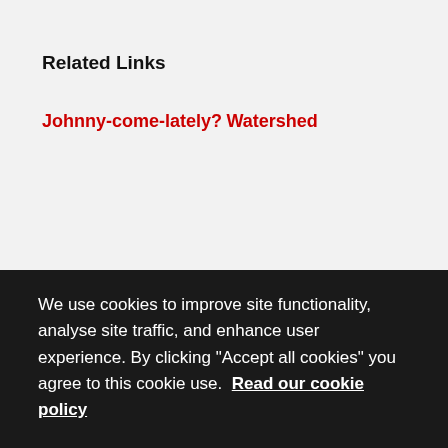Related Links
Johnny-come-lately?
Watershed
We use cookies to improve site functionality, analyse site traffic, and enhance user experience. By clicking "Accept all cookies" you agree to this cookie use.  Read our cookie policy